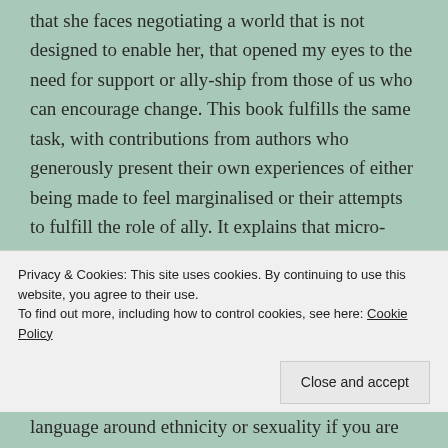that she faces negotiating a world that is not designed to enable her, that opened my eyes to the need for support or ally-ship from those of us who can encourage change. This book fulfills the same task, with contributions from authors who generously present their own experiences of either being made to feel marginalised or their attempts to fulfill the role of ally. It explains that micro-aggressions are the constant undermining comments that seem to diminish or dismiss an individual's worth and that we cannot ignore these if we want to be an ally.
Privacy & Cookies: This site uses cookies. By continuing to use this website, you agree to their use. To find out more, including how to control cookies, see here: Cookie Policy
Close and accept
language around ethnicity or sexuality if you are not